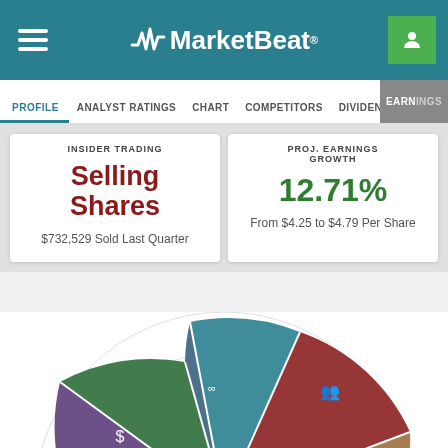MarketBeat
PROFILE | ANALYST RATINGS | CHART | COMPETITORS | DIVIDEND | EARNINGS
INSIDER TRADING
Selling Shares
$732,529 Sold Last Quarter
PROJ. EARNINGS GROWTH
12.71%
From $4.25 to $4.79 Per Share
[Figure (radar-chart): Partial radar/pie chart with colored segments (dark red, teal/blue, green, brown, purple) with icons, shown partially at bottom of page]